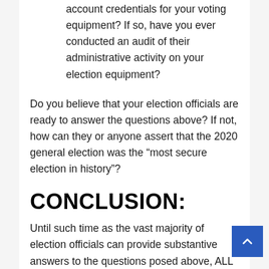Do any vendors have administrative account credentials for your voting equipment? If so, have you ever conducted an audit of their administrative activity on your election equipment?
Do you believe that your election officials are ready to answer the questions above? If not, how can they or anyone assert that the 2020 general election was the “most secure election in history”?
CONCLUSION:
Until such time as the vast majority of election officials can provide substantive answers to the questions posed above, ALL elections should be devoid of electronic voting systems. In the